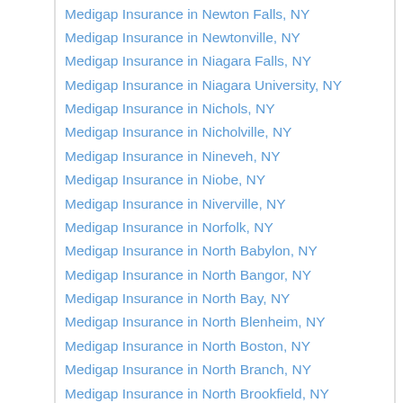Medigap Insurance in Newton Falls, NY
Medigap Insurance in Newtonville, NY
Medigap Insurance in Niagara Falls, NY
Medigap Insurance in Niagara University, NY
Medigap Insurance in Nichols, NY
Medigap Insurance in Nicholville, NY
Medigap Insurance in Nineveh, NY
Medigap Insurance in Niobe, NY
Medigap Insurance in Niverville, NY
Medigap Insurance in Norfolk, NY
Medigap Insurance in North Babylon, NY
Medigap Insurance in North Bangor, NY
Medigap Insurance in North Bay, NY
Medigap Insurance in North Blenheim, NY
Medigap Insurance in North Boston, NY
Medigap Insurance in North Branch, NY
Medigap Insurance in North Brookfield, NY
Medigap Insurance in North Chatham, NY
Medigap Insurance in North Chili, NY